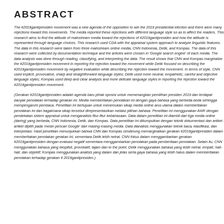ABSTRACT
The #2019gantipresiden movement was a new agenda of the opposition to win the 2019 presidential election and there were many rejections toward this movements. The media reported these rejections with different language style so as to affect the readers. This research aims to find the attitude of mainstream media toward the rejections of #2019gantipresiden and how the attitude is represented through language choices. This research used CDA with the appraisal system approach to analyze linguistic features. The data in this research were taken from three mainstream online media, CNN Indonesia, Detik, and Kompas. The data of this research were collected by documentation technique and the articles were chosen in 'Google search engine' of each media. The data analysis was done through reading, classifying, and interpreting the data. The result shows that CNN and Kompas marginalize the #2019gantipresiden movement in reporting the rejection toward the movement while Detik focused on describing the #2019gantipresiden movement by negative evaluation while describing the rejection toward the movement. In terms of style, CNN used explicit, provocative, sharp and straightforward language styles; Detik used more neutral, empathetic, careful and objective language styles; Kompas used deep and clear analysis and more delicate language styles in reporting the rejection toward the #2019gantipresiden movement.
(Gerakan #2019gantipresiden adalah agenda baru pihak oposisi untuk memenangkan pemilihan presiden 2019 dan terdapat banyak penolakan terhadap gerakan ini. Media memberitakan penolakan ini dengan gaya bahasa yang berbeda-beda sehingga mempengaruhi pembaca. Penelitian ini bertujuan untuk menemukan sikap media online arus utama dalam memberitakan penolakan ini dan bagaimana sikap tersebut direpresentasikan melalui pilihan bahasa. Penelitian ini menggunakan AWK dengan pendekatan sistem appraisal untuk menganalisis fitur-fitur kebahasaan. Data dalam penelitian ini diambil dari tiga media online (daring) yang berbeda, CNN Indonesia, Detik, dan Kompas. Data penelitian ini dikumpulkan dengan teknik dokumentasi dan artikel-artikel dipilih pada 'mesin pencari Google' dari masing-masing media. Data dianalisis menggunakan teknik baca, klasifikasi, dan interpretasi. Hasil penelitian menunjukkan bahwa CNN dan Kompas cenderung memarginalkan gerakan #2019gantipresiden dalam memberitakan penolakan gerakan ini, sementara Detik lebih netral. CNN fokus dalam menggambarkan gerakan #2019gantipresiden dengan evaluasi negatif sementara menggambarkan penolakan pada pemberitaan penolakan. Selain itu, CNN menggunakan bahasa yang eksplisit, provokatif, tajam dan to the point; Detik menggunakan bahasa yang lebih netral, empati, hati-hati, dan objektif; Kompas menggunakan analisis yang dalam dan jelas serta gaya bahasa yang lebih halus dalam memberitakan penolakan terhadap gerakan # 2019gantipresiden.)